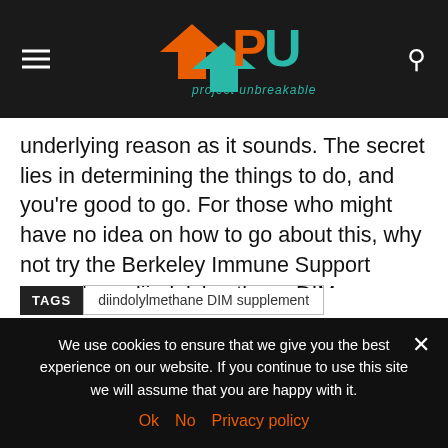Project Unbreakable
underlying reason as it sounds. The secret lies in determining the things to do, and you're good to go. For those who might have no idea on how to go about this, why not try the Berkeley Immune Support Formula, a diindolylmethane DIM supplement. Thanks to this diindolylmethane supplement, rest assured you will revive your immune system without necessarily having to push yourself to the limits.
TAGS diindolylmethane DIM supplement
We use cookies to ensure that we give you the best experience on our website. If you continue to use this site we will assume that you are happy with it. Ok No Privacy policy